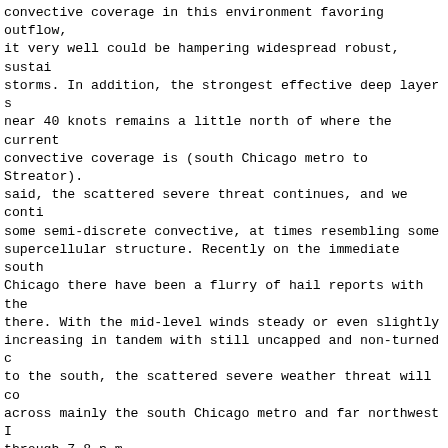convective coverage in this environment favoring outflow, it very well could be hampering widespread robust, sustained storms. In addition, the strongest effective deep layer shear near 40 knots remains a little north of where the current convective coverage is (south Chicago metro to Streator). That said, the scattered severe threat continues, and we continue some semi-discrete convective, at times resembling some supercellular structure. Recently on the immediate south side of Chicago there have been a flurry of hail reports with the storm there. With the mid-level winds steady or even slightly increasing in tandem with still uncapped and non-turned convection to the south, the scattered severe weather threat will continue across mainly the south Chicago metro and far northwest Indiana through 7-8 p.m.
Primary threats remain hail, especially 1-1.5 inch hail, and isolated gusty winds. The threat of a more congealed wind event is lowering with each hour. Some locations have received multiple rounds of storms in the Chicago metro and are at a little higher risk to have localized flooding, maybe even flash flooding in a favorable location given temporary heavy rainfall rates. The overall flood threat though remains somewhat low.
MTF
&&
.SHORT TERM...
155 PM CDT
Through Tonight